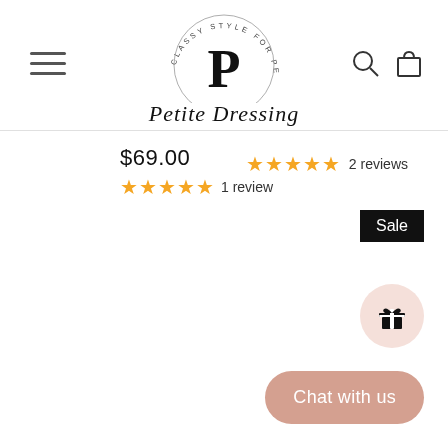[Figure (logo): Petite Dressing logo: circular text 'CLASSY STYLE FOR PETITES' around a large P, with cursive 'Petite Dressing' below]
$69.00
★★★★★ 1 review
★★★★★ 2 reviews
Sale
[Figure (illustration): Gift box icon on a pink/blush circular background]
Chat with us